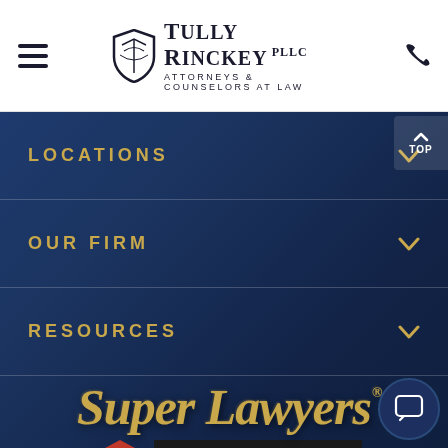[Figure (logo): Tully Rinckey PLLC Attorneys & Counselors at Law logo with shield emblem, hamburger menu icon, and phone icon in white header bar]
LOCATIONS
OUR FIRM
RESOURCES
[Figure (logo): Super Lawyers badge in gold italic serif font]
[Figure (logo): AV Preeminent badge - red hexagon with AV, black bar reading PREEMINENT with Peer Rated for Highest Level of Professional Excellence]
[Figure (logo): Inc. magazine logo in bold black italic serif font]